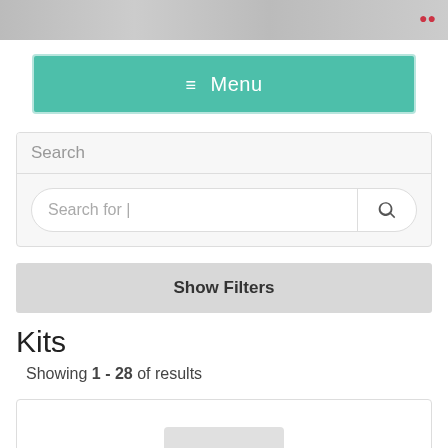[Figure (screenshot): Top strip showing partial website header images with red icon elements on right]
≡ Menu
Search
Search for |
Show Filters
Kits
Showing 1 - 28 of results
[Figure (screenshot): Partial product card showing bottom of product image placeholder]